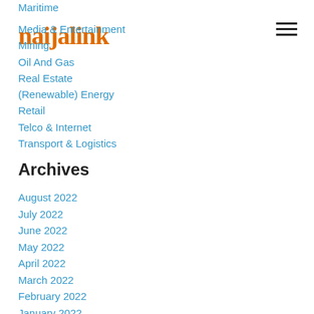[Figure (logo): naijalink orange logo text]
Maritime
Media & Entertainment
Mining
Oil And Gas
Real Estate
(Renewable) Energy
Retail
Telco & Internet
Transport & Logistics
Archives
August 2022
July 2022
June 2022
May 2022
April 2022
March 2022
February 2022
January 2022